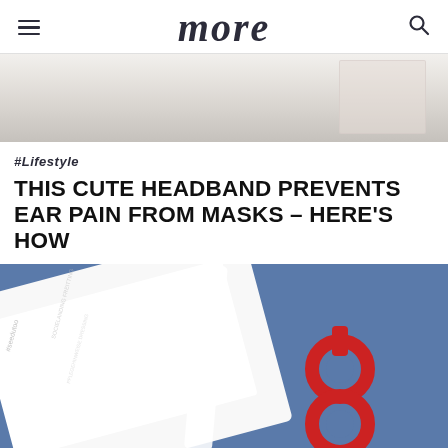more
[Figure (photo): Close-up photo of soft light-colored fabric or textile, blurred background with white rectangular element visible at right]
#Lifestyle
THIS CUTE HEADBAND PREVENTS EAR PAIN FROM MASKS – HERE'S HOW
[Figure (photo): Close-up photo of a red figure-8 shaped mask extender/ear saver button alongside white fabric and denim blue fabric, with printed label or card visible]